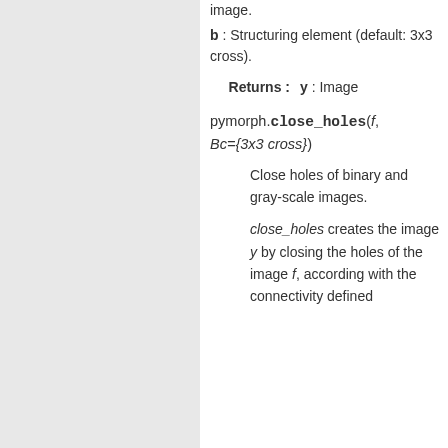image.
b : Structuring element (default: 3x3 cross).
Returns : y : Image
pymorph.close_holes(f, Bc={3x3 cross})
Close holes of binary and gray-scale images.
close_holes creates the image y by closing the holes of the image f, according with the connectivity defined